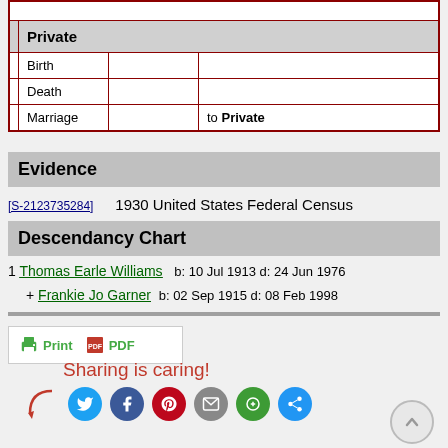|  |  |  |
| --- | --- | --- |
| Private |  |  |
| Birth |  |  |
| Death |  |  |
| Marriage |  | to Private |
Evidence
[S-2123735284]    1930 United States Federal Census
Descendancy Chart
1 Thomas Earle Williams    b: 10 Jul 1913 d: 24 Jun 1976
+ Frankie Jo Garner    b: 02 Sep 1915 d: 08 Feb 1998
[Figure (infographic): Print and PDF buttons in a white bordered box]
[Figure (infographic): Sharing is caring! text with social media icons: Twitter, Facebook, Pinterest, Email, Google+, Share]